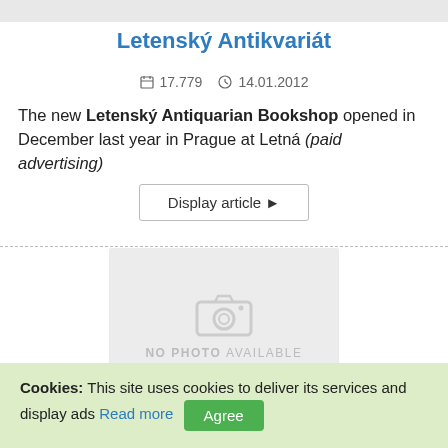[Figure (other): Top image strip (cropped image at top of page)]
Letenský Antikvariát
🗂 17.779  🕐 14.01.2012
The new Letenský Antiquarian Bookshop opened in December last year in Prague at Letná (paid advertising)
Display article ▶
[Figure (photo): No photo available placeholder with camera icon]
Letov Sh-328
Cookies: This site uses cookies to deliver its services and display ads Read more  Agree